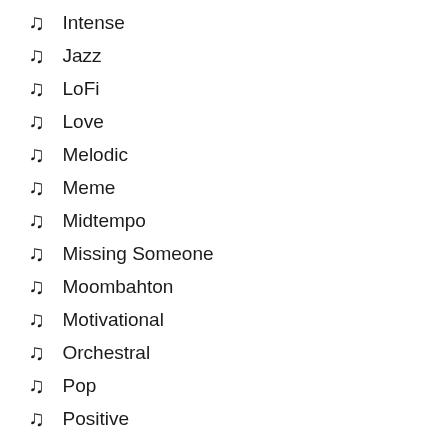Intense
Jazz
LoFi
Love
Melodic
Meme
Midtempo
Missing Someone
Moombahton
Motivational
Orchestral
Pop
Positive